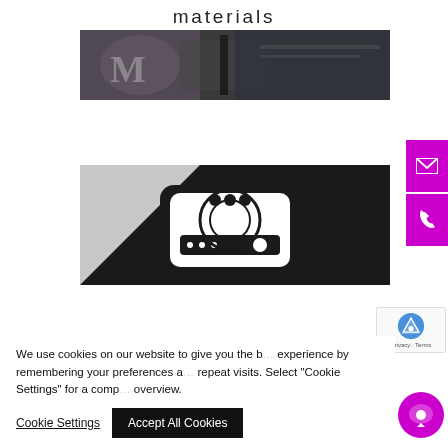materials
[Figure (photo): Close-up photo of dark marble/granite surface with a letter M visible]
[Figure (photo): Close-up photo of a black business card or printed material with white graphic phone/mobile icons on it]
We use cookies on our website to give you the best experience by remembering your preferences and repeat visits. Select "Cookie Settings" for a complete overview.
Cookie Settings   Accept All Cookies